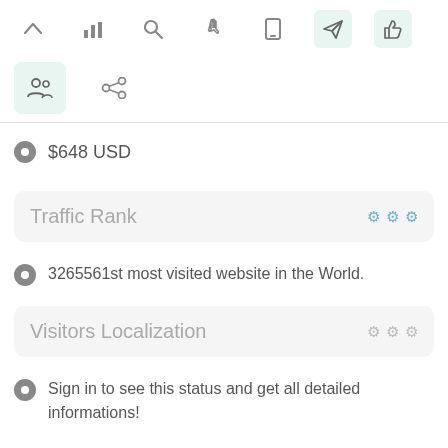[Figure (screenshot): Toolbar with icons: chevron up, bar chart, search, hand cursor, mobile phone, paper plane (active green), thumbs up (active green)]
[Figure (screenshot): Second toolbar row with people/group icon (active green) and share/link icon]
$648 USD
Traffic Rank
3265561st most visited website in the World.
Visitors Localization
Sign in to see this status and get all detailed informations!